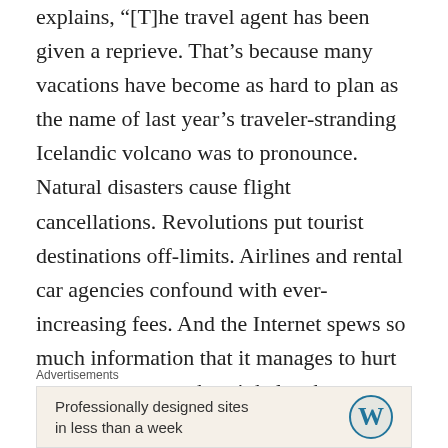explains, “[T]he travel agent has been given a reprieve. That’s because many vacations have become as hard to plan as the name of last year’s traveler-stranding Icelandic volcano was to pronounce. Natural disasters cause flight cancellations. Revolutions put tourist destinations off-limits. Airlines and rental car agencies confound with ever-increasing fees. And the Internet spews so much information that it manages to hurt consumers as much as it helps them. … Travelers are starting to need vacations from planning their vacations.” The article goes on to quote ASTA CEO Tony Gonchar as saying: ““Consumers are looking for specialists. They want a destination wedding specialist, an Africa specialist, a Puerto Rico specialist.”
Advertisements
[Figure (other): Advertisement banner with text 'Professionally designed sites in less than a week' and WordPress logo]